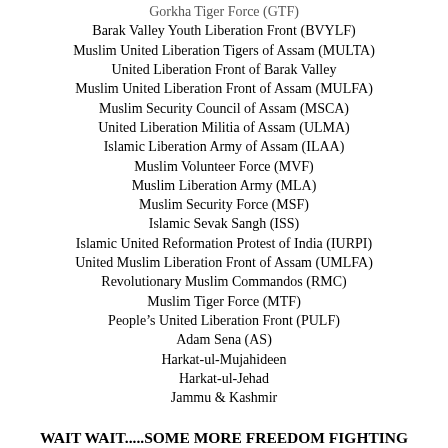Gorkha Tiger Force (GTF)
Barak Valley Youth Liberation Front (BVYLF)
Muslim United Liberation Tigers of Assam (MULTA)
United Liberation Front of Barak Valley
Muslim United Liberation Front of Assam (MULFA)
Muslim Security Council of Assam (MSCA)
United Liberation Militia of Assam (ULMA)
Islamic Liberation Army of Assam (ILAA)
Muslim Volunteer Force (MVF)
Muslim Liberation Army (MLA)
Muslim Security Force (MSF)
Islamic Sevak Sangh (ISS)
Islamic United Reformation Protest of India (IURPI)
United Muslim Liberation Front of Assam (UMLFA)
Revolutionary Muslim Commandos (RMC)
Muslim Tiger Force (MTF)
People’s United Liberation Front (PULF)
Adam Sena (AS)
Harkat-ul-Mujahideen
Harkat-ul-Jehad
Jammu & Kashmir
WAIT WAIT.....SOME MORE FREEDOM FIGHTING ORGANIZATIONS IN INDIA
Akhil Bharat Nepali Ekta Samai (ABNES)